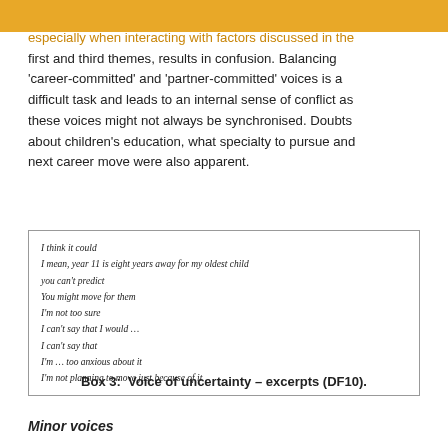especially when interacting with factors discussed in the first and third themes, results in confusion. Balancing 'career-committed' and 'partner-committed' voices is a difficult task and leads to an internal sense of conflict as these voices might not always be synchronised. Doubts about children's education, what specialty to pursue and next career move were also apparent.
[Figure (other): Quoted text box containing italicised verses/lines attributed to DF10, representing the voice of uncertainty.]
Box 3: Voice of uncertainty – excerpts (DF10).
Minor voices